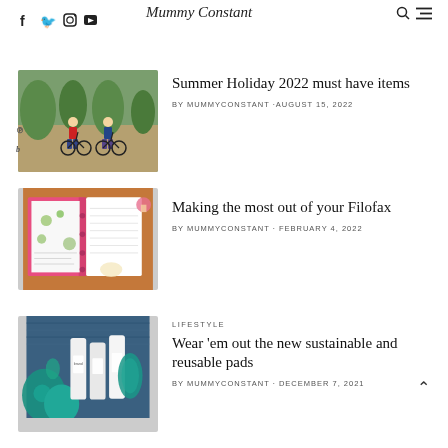f  🐦  📷  ▶  |  Mummy Constant  [search icon]  [menu icon]
[Figure (photo): Two children on bicycles outdoors with trees in background]
Summer Holiday 2022 must have items
BY MUMMYCONSTANT · AUGUST 15, 2022
[Figure (photo): Open Filofax planner with floral pages on a wooden surface]
Making the most out of your Filofax
BY MUMMYCONSTANT · FEBRUARY 4, 2022
[Figure (photo): Sustainable and reusable pads products arranged with teal fabric]
LIFESTYLE
Wear 'em out the new sustainable and reusable pads
BY MUMMYCONSTANT · DECEMBER 7, 2021